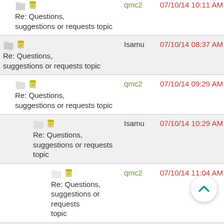Re: Questions, suggestions or requests topic | qmc2 | 07/10/14 10:11 AM
Re: Questions, suggestions or requests topic | Isamu | 07/10/14 08:37 AM
Re: Questions, suggestions or requests topic | qmc2 | 07/10/14 09:29 AM
Re: Questions, suggestions or requests topic | Isamu | 07/10/14 10:29 AM
Re: Questions, suggestions or requests topic | qmc2 | 07/10/14 11:04 AM
Re: Questions, suggestions or requests topic | Isamu | 07/10/14 10:59 AM
Re: Questions, suggestions or requests topic | qmc2 | 07/10/14 11:28 AM
Re: Questions, suggestions or requests topic | qmc2 | 07/10/14 11:15 AM
Re: Questions, suggestions or requests topic | Isamu | 07/10/14 11:41 AM